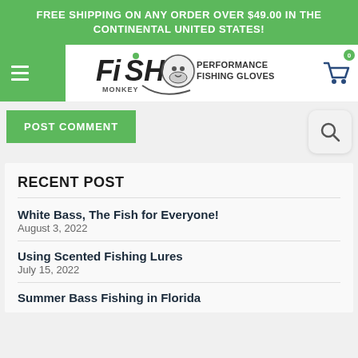FREE SHIPPING ON ANY ORDER OVER $49.00 IN THE CONTINENTAL UNITED STATES!
[Figure (logo): Fish Monkey Performance Fishing Gloves logo with monkey icon]
POST COMMENT
RECENT POST
White Bass, The Fish for Everyone!
August 3, 2022
Using Scented Fishing Lures
July 15, 2022
Summer Bass Fishing in Florida